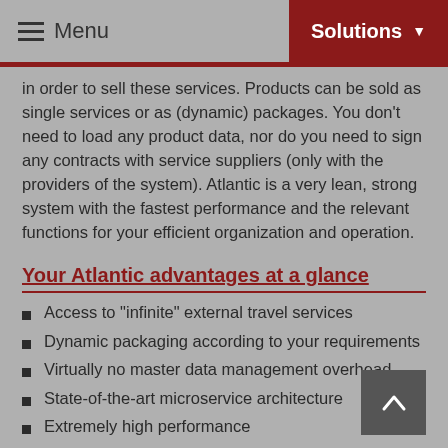Menu   Solutions
in order to sell these services. Products can be sold as single services or as (dynamic) packages. You don't need to load any product data, nor do you need to sign any contracts with service suppliers (only with the providers of the system). Atlantic is a very lean, strong system with the fastest performance and the relevant functions for your efficient organization and operation.
Your Atlantic advantages at a glance
Access to "infinite" external travel services
Dynamic packaging according to your requirements
Virtually no master data management overhead
State-of-the-art microservice architecture
Extremely high performance
Fully integrated into your existing system landscape